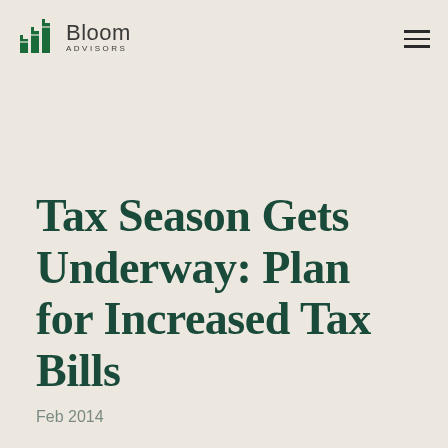Bloom Advisors
Tax Season Gets Underway: Plan for Increased Tax Bills
Feb 2014